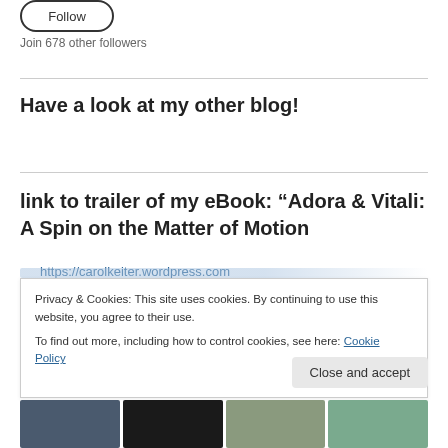[Figure (other): Follow button (rounded rectangle with 'Follow' text)]
Join 678 other followers
Have a look at my other blog!
https://carolkeiter.wordpress.com
link to trailer of my eBook: “Adora & Vitali: A Spin on the Matter of Motion
Privacy & Cookies: This site uses cookies. By continuing to use this website, you agree to their use.
To find out more, including how to control cookies, see here: Cookie Policy
Close and accept
[Figure (photo): Row of four thumbnail images at bottom of page]